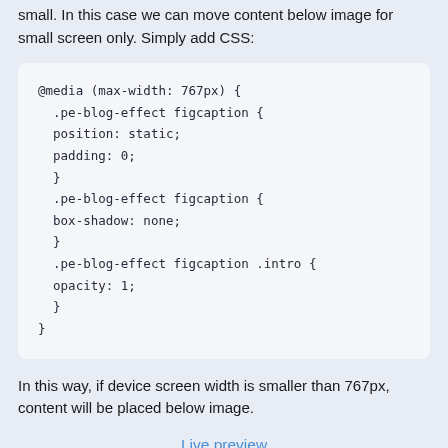small. In this case we can move content below image for small screen only. Simply add CSS:
@media (max-width: 767px) {
  .pe-blog-effect figcaption {
  position: static;
  padding: 0;
  }
  .pe-blog-effect figcaption {
  box-shadow: none;
  }
  .pe-blog-effect figcaption .intro {
  opacity: 1;
  }
}
In this way, if device screen width is smaller than 767px, content will be placed below image.
Live preview